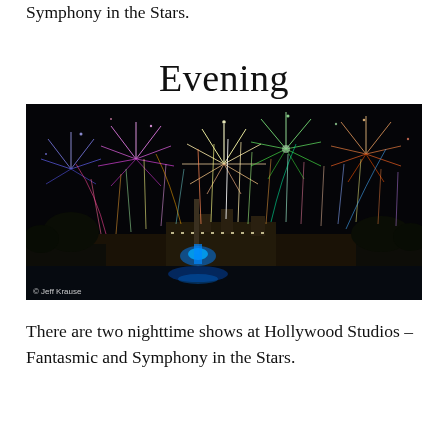Symphony in the Stars.
Evening
[Figure (photo): Nighttime fireworks display at Hollywood Studios over a lake, with colorful streaks of fireworks illuminating the dark sky above buildings and trees, with a fountain glowing blue in the foreground. Photo credit: © Jeff Krause]
There are two nighttime shows at Hollywood Studios – Fantasmic and Symphony in the Stars. Fantasmic is a miles of favorite...